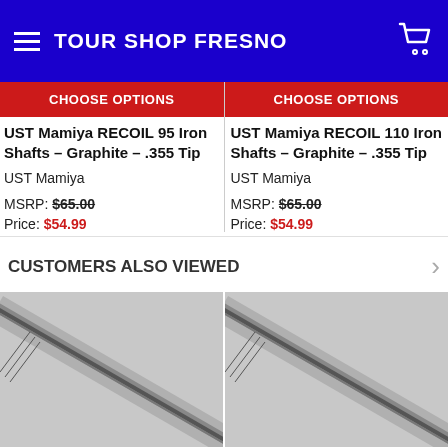TOUR SHOP FRESNO
CHOOSE OPTIONS
CHOOSE OPTIONS
UST Mamiya RECOIL 95 Iron Shafts - Graphite - .355 Tip
UST Mamiya
MSRP: $65.00
Price: $54.99
UST Mamiya RECOIL 110 Iron Shafts - Graphite - .355 Tip
UST Mamiya
MSRP: $65.00
Price: $54.99
CUSTOMERS ALSO VIEWED
[Figure (photo): Golf shaft product image - left]
[Figure (photo): Golf shaft product image - right]